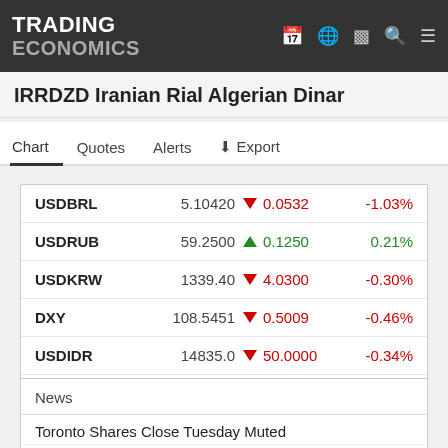TRADING ECONOMICS
IRRDZD Iranian Rial Algerian Dinar
Chart | Quotes | Alerts | Export
| Symbol | Value | Change | % Change |
| --- | --- | --- | --- |
| USDBRL | 5.10420 | ▼ 0.0532 | -1.03% |
| USDRUB | 59.2500 | ▲ 0.1250 | 0.21% |
| USDKRW | 1339.40 | ▼ 4.0300 | -0.30% |
| DXY | 108.5451 | ▼ 0.5009 | -0.46% |
| USDIDR | 14835.0 | ▼ 50.0000 | -0.34% |
More
News
Toronto Shares Close Tuesday Muted
Dow Jones Falls for 3rd Session